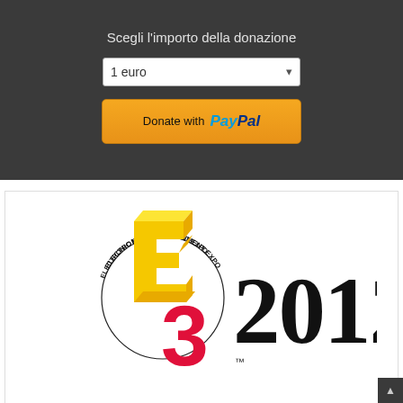Scegli l'importo della donazione
[Figure (screenshot): Dropdown selector showing '1 euro' option with arrow]
[Figure (logo): PayPal 'Donate with PayPal' orange button]
[Figure (logo): E3 2012 Electronic Entertainment Expo logo — yellow and pink '3D E3' letters in circular text ring, next to '2012' in large serif font]